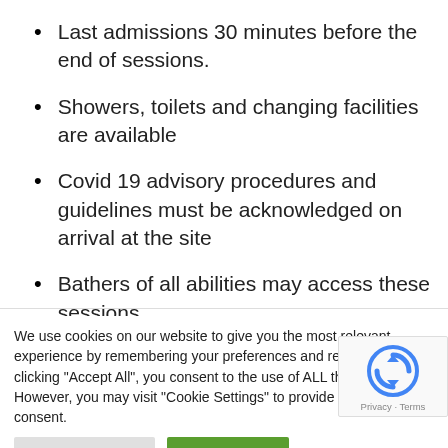Last admissions 30 minutes before the end of sessions.
Showers, toilets and changing facilities are available
Covid 19 advisory procedures and guidelines must be acknowledged on arrival at the site
Bathers of all abilities may access these sessions
We use cookies on our website to give you the most relevant experience by remembering your preferences and repeat visits. By clicking "Accept All", you consent to the use of ALL the cookies. However, you may visit "Cookie Settings" to provide a controlled consent.